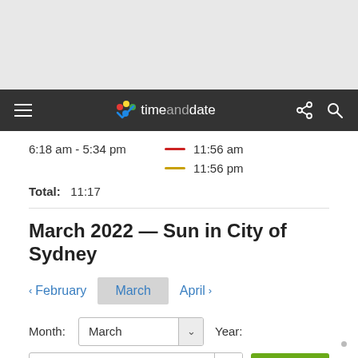[Figure (screenshot): Gray top background area (ad/header placeholder)]
timeanddate — navigation bar with menu, logo, share and search icons
6:18 am - 5:34 pm    — 11:56 am    — 11:56 pm
Total:  11:17
March 2022 — Sun in City of Sydney
< February   March   April >
Month: March  Year: 2022  Go